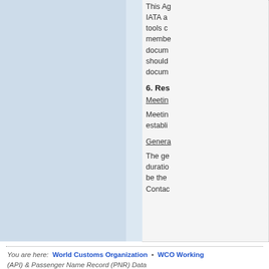This Ag... IATA a... tools c... membe... docum... should... docum...
6. Res...
Meetin...
Meetin... establi...
Genera...
The ge... duratio... be the... Contac...
You are here: World Customs Organization • WCO Working... (API) & Passenger Name Record (PNR) Data